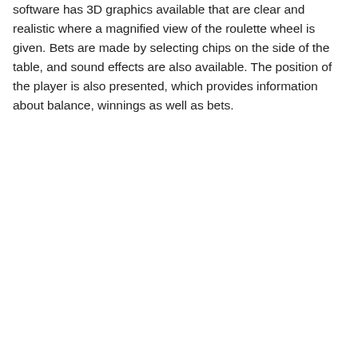software has 3D graphics available that are clear and realistic where a magnified view of the roulette wheel is given. Bets are made by selecting chips on the side of the table, and sound effects are also available. The position of the player is also presented, which provides information about balance, winnings as well as bets.